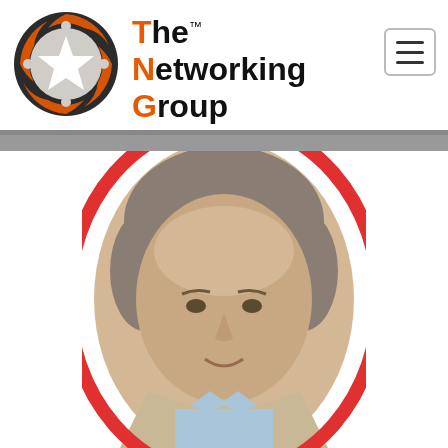[Figure (logo): The Networking Group logo with orange and dark circular icon and TNG brand text]
[Figure (photo): Professional headshot of a middle-aged man with gray-streaked hair, wearing a light blue shirt and beige jacket, framed in a red oval border]